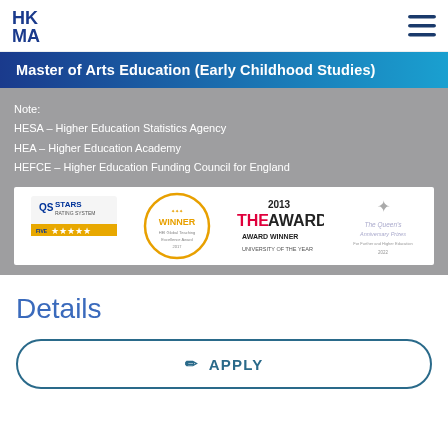HKMA logo and navigation
Master of Arts Education (Early Childhood Studies)
Note:
HESA – Higher Education Statistics Agency
HEA – Higher Education Academy
HEFCE – Higher Education Funding Council for England
[Figure (logo): Awards strip showing: QS Stars Rating System (5 stars), Winner HEI Global Teaching Excellence Award 2017, THE Awards 2013 Award Winner University of the Year, The Queen's Anniversary Prizes]
Details
APPLY